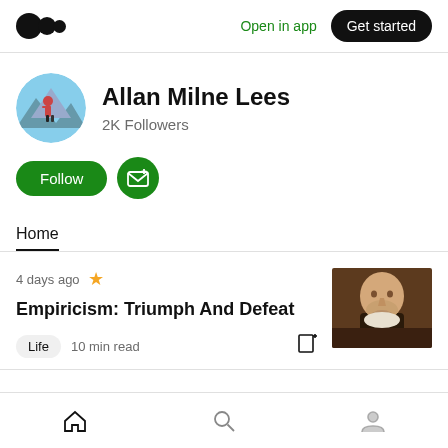Medium logo | Open in app | Get started
Allan Milne Lees
2K Followers
Follow | Subscribe
Home
4 days ago
Empiricism: Triumph And Defeat
Life  10 min read
Home | Search | Profile